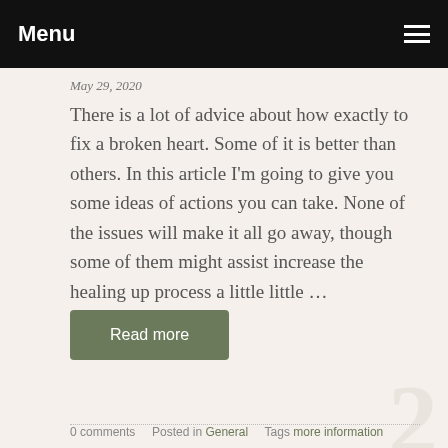Menu
May 29, 2020
There is a lot of advice about how exactly to fix a broken heart. Some of it is better than others. In this article I'm going to give you some ideas of actions you can take. None of the issues will make it all go away, though some of them might assist increase the healing up process a little little …
Read more
0 comments   Posted in General   Tags more information
FIGHTING TO LEARN WORDPRESS? TAKE A LOOK AT THESE SOME